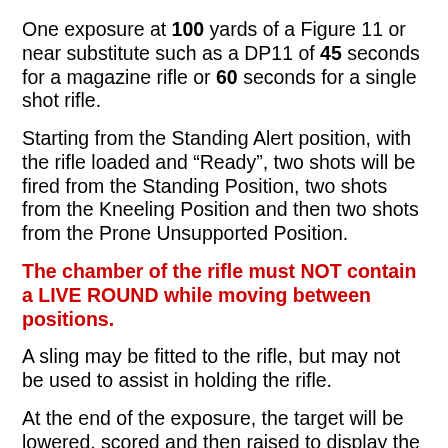One exposure at 100 yards of a Figure 11 or near substitute such as a DP11 of 45 seconds for a magazine rifle or 60 seconds for a single shot rifle.
Starting from the Standing Alert position, with the rifle loaded and “Ready”, two shots will be fired from the Standing Position, two shots from the Kneeling Position and then two shots from the Prone Unsupported Position.
The chamber of the rifle must NOT contain a LIVE ROUND while moving between positions.
A sling may be fitted to the rifle, but may not be used to assist in holding the rifle.
At the end of the exposure, the target will be lowered, scored and then raised to display the fall of shot. Scores will either be